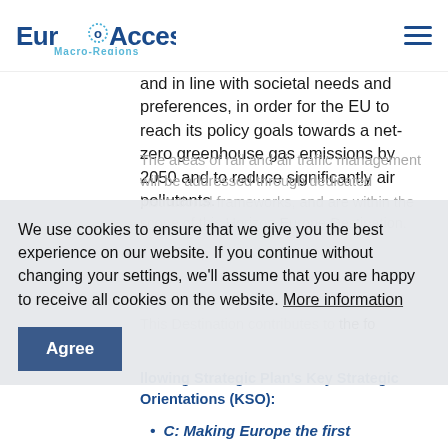EuroAccess Macro-Regions
and in line with societal needs and preferences, in order for the EU to reach its policy goals towards a net-zero greenhouse gas emissions by 2050 and to reduce significantly air pollutants.
The areas of rail and air traffic management will be addressed through dedicated institutional frameworks, and are within the scope of this Horizon Europe Destination.
We use cookies to ensure that we give you the best experience on our website. If you continue without changing your settings, we'll assume that you are happy to receive all cookies on the website. More information
This Destination contributes to the following Strategic Plan's Key Strategic Orientations (KSO):
C: Making Europe the first